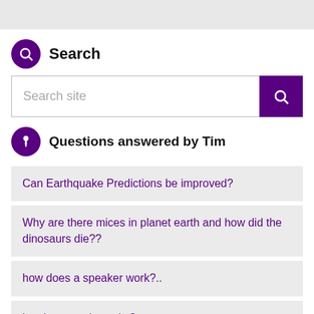Search
[Figure (screenshot): Search input box with placeholder text 'Search site' and a purple search button with magnifying glass icon]
Questions answered by Tim
Can Earthquake Predictions be improved?
Why are there mices in planet earth and how did the dinosaurs die??
how does a speaker work?..
hw do u get six packs?..